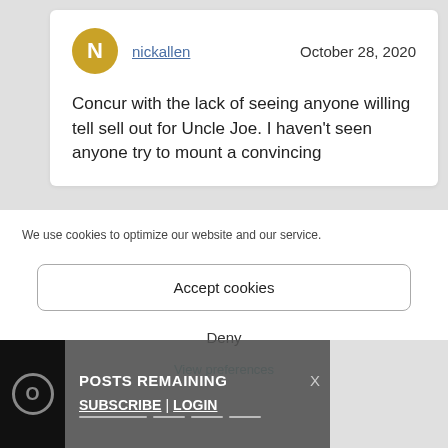nickallen   October 28, 2020
Concur with the lack of seeing anyone willing tell sell out for Uncle Joe. I haven't seen anyone try to mount a convincing
We use cookies to optimize our website and our service.
Accept cookies
Deny
View preferences
POSTS REMAINING   X
SUBSCRIBE | LOGIN